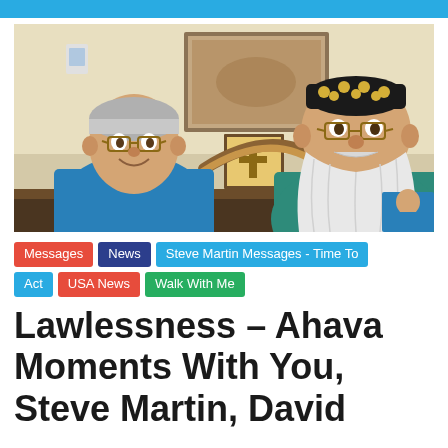[Figure (photo): Two men sitting together. Man on left wears a blue polo shirt and glasses with gray hair. Man on right has a long white beard, wears a black decorative cap and teal shirt. Religious artwork and a cross visible in background.]
Messages
News
Steve Martin Messages - Time To
Act
USA News
Walk With Me
Lawlessness – Ahava Moments With You, Steve Martin, David